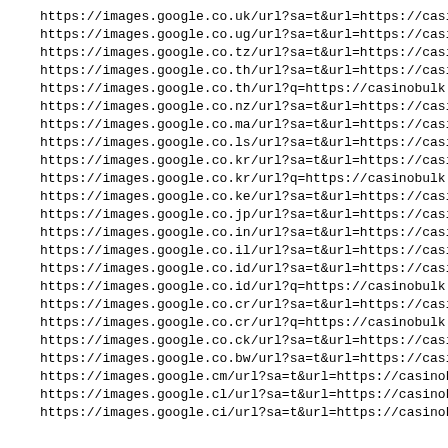https://images.google.co.uk/url?sa=t&url=https://casinobulk.com/
https://images.google.co.ug/url?sa=t&url=https://casinobulk.com/
https://images.google.co.tz/url?sa=t&url=https://casinobulk.com/
https://images.google.co.th/url?sa=t&url=https://casinobulk.com/
https://images.google.co.th/url?q=https://casinobulk.com/
https://images.google.co.nz/url?sa=t&url=https://casinobulk.com/
https://images.google.co.ma/url?sa=t&url=https://casinobulk.com/
https://images.google.co.ls/url?sa=t&url=https://casinobulk.com/
https://images.google.co.kr/url?sa=t&url=https://casinobulk.com/
https://images.google.co.kr/url?q=https://casinobulk.com/
https://images.google.co.ke/url?sa=t&url=https://casinobulk.com/
https://images.google.co.jp/url?sa=t&url=https://casinobulk.com/
https://images.google.co.in/url?sa=t&url=https://casinobulk.com/
https://images.google.co.il/url?sa=t&url=https://casinobulk.com/
https://images.google.co.id/url?sa=t&url=https://casinobulk.com/
https://images.google.co.id/url?q=https://casinobulk.com/
https://images.google.co.cr/url?sa=t&url=https://casinobulk.com/
https://images.google.co.cr/url?q=https://casinobulk.com/
https://images.google.co.ck/url?sa=t&url=https://casinobulk.com/
https://images.google.co.bw/url?sa=t&url=https://casinobulk.com/
https://images.google.cm/url?sa=t&url=https://casinobulk.com/
https://images.google.cl/url?sa=t&url=https://casinobulk.com/
https://images.google.ci/url?sa=t&url=https://casinobulk.com/